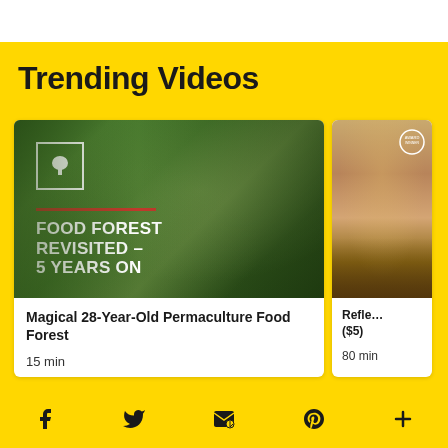Trending Videos
[Figure (screenshot): Thumbnail for 'Food Forest Revisited – 5 Years On' video showing two people in a lush green permaculture food forest, with white tree logo in a box, orange underline, and bold white title text. 15 min duration.]
Magical 28-Year-Old Permaculture Food Forest
15 min
[Figure (screenshot): Partial thumbnail of second video card showing a landscape scene with warm brown/golden tones and an award circle in the top right corner. Partially cropped.]
Refle... ($5)
80 min
f  Twitter  Email  Pinterest  +